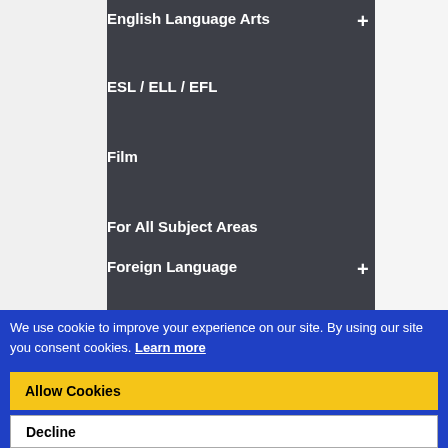English Language Arts +
ESL / ELL / EFL
Film
For All Subject Areas
Foreign Language +
Geography (University)
We use cookie to improve your experience on our site. By using our site you consent cookies. Learn more
Allow Cookies
Decline